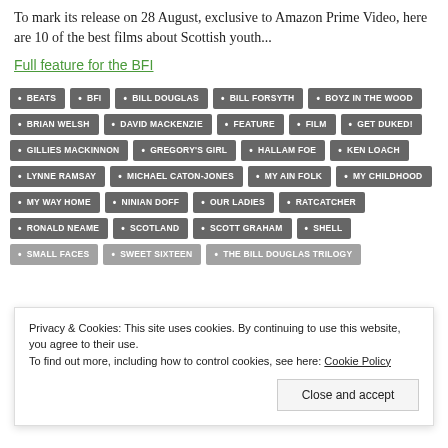To mark its release on 28 August, exclusive to Amazon Prime Video, here are 10 of the best films about Scottish youth...
Full feature for the BFI
BEATS
BFI
BILL DOUGLAS
BILL FORSYTH
BOYZ IN THE WOOD
BRIAN WELSH
DAVID MACKENZIE
FEATURE
FILM
GET DUKED!
GILLIES MACKINNON
GREGORY'S GIRL
HALLAM FOE
KEN LOACH
LYNNE RAMSAY
MICHAEL CATON-JONES
MY AIN FOLK
MY CHILDHOOD
MY WAY HOME
NINIAN DOFF
OUR LADIES
RATCATCHER
RONALD NEAME
SCOTLAND
SCOTT GRAHAM
SHELL
SMALL FACES
SWEET SIXTEEN
THE BILL DOUGLAS TRILOGY
Privacy & Cookies: This site uses cookies. By continuing to use this website, you agree to their use. To find out more, including how to control cookies, see here: Cookie Policy
Close and accept